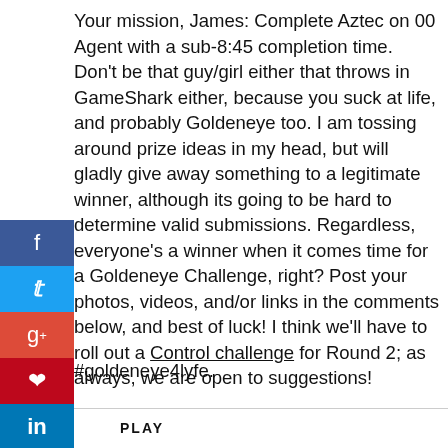Your mission, James: Complete Aztec on 00 Agent with a sub-8:45 completion time.  Don't be that guy/girl either that throws in GameShark either, because you suck at life, and probably Goldeneye too.  I am tossing around prize ideas in my head, but will gladly give away something to a legitimate winner, although its going to be hard to determine valid submissions.  Regardless, everyone's a winner when it comes time for a Goldeneye Challenge, right?  Post your photos, videos, and/or links in the comments below, and best of luck!  I think we'll have to roll out a Control challenge for Round 2;  as always, we are open to suggestions!
#goldeneye4lyfe.
PLAY